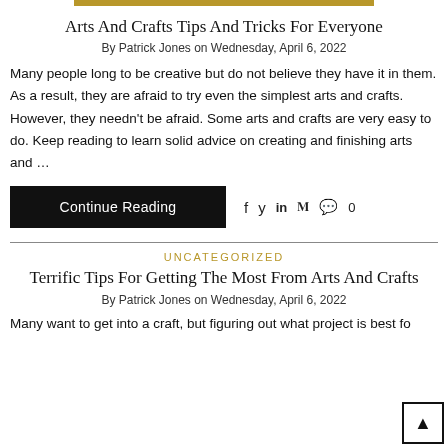Arts And Crafts Tips And Tricks For Everyone
By Patrick Jones on Wednesday, April 6, 2022
Many people long to be creative but do not believe they have it in them. As a result, they are afraid to try even the simplest arts and crafts. However, they needn't be afraid. Some arts and crafts are very easy to do. Keep reading to learn solid advice on creating and finishing arts and …
Continue Reading
UNCATEGORIZED
Terrific Tips For Getting The Most From Arts And Crafts
By Patrick Jones on Wednesday, April 6, 2022
Many want to get into a craft, but figuring out what project is best fo…